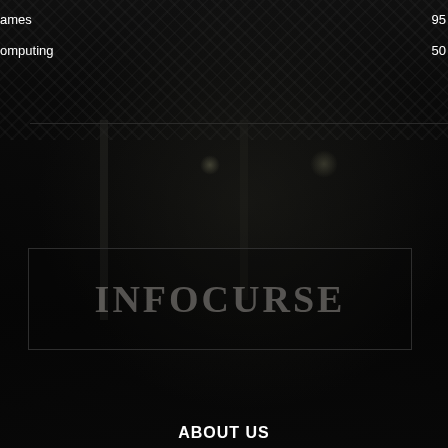ames  95
omputing  50
[Figure (photo): Dark background photo of what appears to be an indoor venue/stage with structural metal framework, very dark and moody]
[Figure (logo): INFOCURSE logo text in large serif font inside a rectangular border, semi-transparent on dark background]
ABOUT US